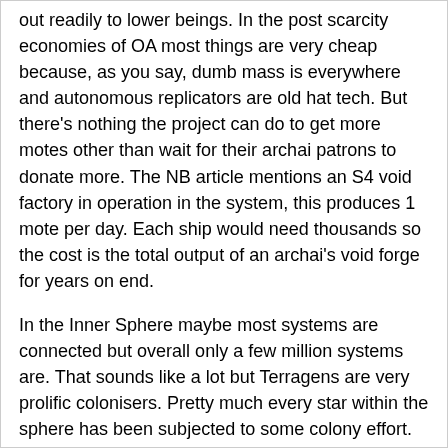out readily to lower beings. In the post scarcity economies of OA most things are very cheap because, as you say, dumb mass is everywhere and autonomous replicators are old hat tech. But there's nothing the project can do to get more motes other than wait for their archai patrons to donate more. The NB article mentions an S4 void factory in operation in the system, this produces 1 mote per day. Each ship would need thousands so the cost is the total output of an archai's void forge for years on end.
In the Inner Sphere maybe most systems are connected but overall only a few million systems are. That sounds like a lot but Terragens are very prolific colonisers. Pretty much every star within the sphere has been subjected to some colony effort.
RE inter-galaxy colonisation the timescales involved kind of make any plans moot. Long lived generation ships would likely suffer some sort of social or technological breakdown in the journey. A very redundant sleeper ship might make it but there's no guarantee that the wormhole its carrying will connect to the terragen sphere